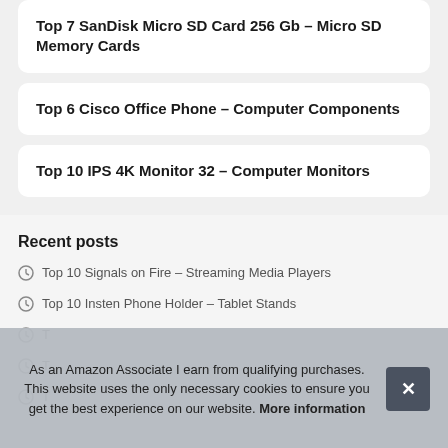Top 7 SanDisk Micro SD Card 256 Gb – Micro SD Memory Cards
Top 6 Cisco Office Phone – Computer Components
Top 10 IPS 4K Monitor 32 – Computer Monitors
Recent posts
Top 10 Signals on Fire – Streaming Media Players
Top 10 Insten Phone Holder – Tablet Stands
T
T
T
As an Amazon Associate I earn from qualifying purchases. This website uses the only necessary cookies to ensure you get the best experience on our website. More information